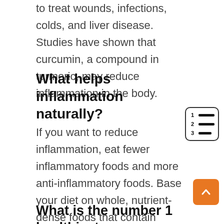to treat wounds, infections, colds, and liver disease. Studies have shown that curcumin, a compound in turmeric, may reduce inflammation in the body.
What helps inflammation naturally?
If you want to reduce inflammation, eat fewer inflammatory foods and more anti-inflammatory foods. Base your diet on whole, nutrient-dense foods that contain antioxidants — and avoid processed products. Antioxidants work by reducing levels of free radicals.
What is the number 1 healthiest food in the world?